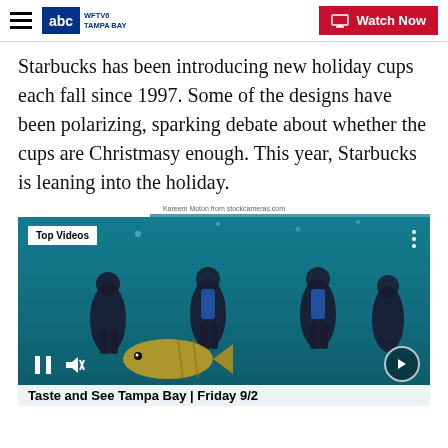WFTV6 TAMPA BAY | Watch Now
Starbucks has been introducing new holiday cups each fall since 1997. Some of the designs have been polarizing, sparking debate about whether the cups are Christmasy enough. This year, Starbucks is leaning into the holiday.
Kareem Moton from stockcameras.com
[Figure (photo): Underwater video player showing scuba divers underwater with a fish in foreground. Labeled 'Top Videos'. Video title bar reads 'Taste and See Tampa Bay | Friday 9/2']